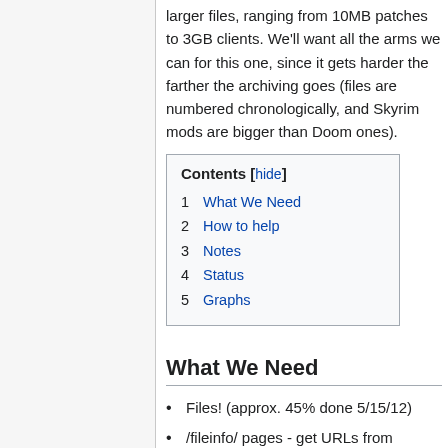larger files, ranging from 10MB patches to 3GB clients. We'll want all the arms we can for this one, since it gets harder the farther the archiving goes (files are numbered chronologically, and Skyrim mods are bigger than Doom ones).
1 What We Need
2 How to help
3 Notes
4 Status
5 Graphs
What We Need
Files! (approx. 45% done 5/15/12)
/fileinfo/ pages - get URLs from sitemaps (Schbirid is downloading these)
Afterwards, extract all thumbnail...